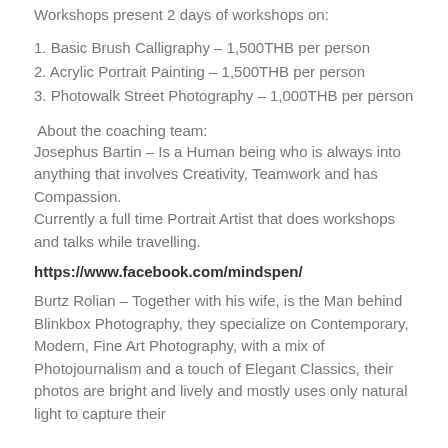ARTventure Thailand – Photography, Calligraphy & Painting Workshops present 2 days of workshops on:
1. Basic Brush Calligraphy – 1,500THB per person
2. Acrylic Portrait Painting – 1,500THB per person
3. Photowalk Street Photography – 1,000THB per person
About the coaching team:
Josephus Bartin – Is a Human being who is always into anything that involves Creativity, Teamwork and has Compassion.
Currently a full time Portrait Artist that does workshops and talks while travelling.
https://www.facebook.com/mindspen/
Burtz Rolian – Together with his wife, is the Man behind Blinkbox Photography, they specialize on Contemporary, Modern, Fine Art Photography, with a mix of Photojournalism and a touch of Elegant Classics, their photos are bright and lively and mostly uses only natural light to capture their